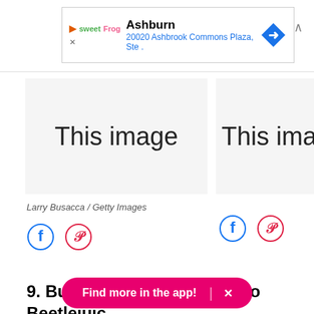[Figure (screenshot): Ad banner for sweetFrog in Ashburn with address 20020 Ashbrook Commons Plaza, Ste. and a blue navigation arrow diamond icon]
[Figure (photo): Left image placeholder with text 'This image']
[Figure (photo): Right image placeholder with text 'This image' partially visible]
Larry Busacca / Getty Images
[Figure (infographic): Facebook and Pinterest share icons (left column)]
[Figure (infographic): Facebook and Pinterest share icons (right column)]
9. But later on, he turned into Beetlejuic
[Figure (screenshot): Pink pill-shaped app promo bar: 'Find more in the app!' with X close button]